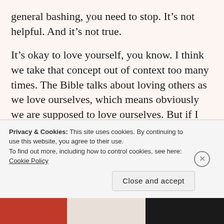general bashing, you need to stop. It's not helpful. And it's not true.
It's okay to love yourself, you know. I think we take that concept out of context too many times. The Bible talks about loving others as we love ourselves, which means obviously we are supposed to love ourselves. But if I treated others the way I treat me? Whew, that would be brutal.
But where do you draw the line between loving yourself and loving yourself too much? Maybe the
Privacy & Cookies: This site uses cookies. By continuing to use this website, you agree to their use.
To find out more, including how to control cookies, see here: Cookie Policy
Close and accept